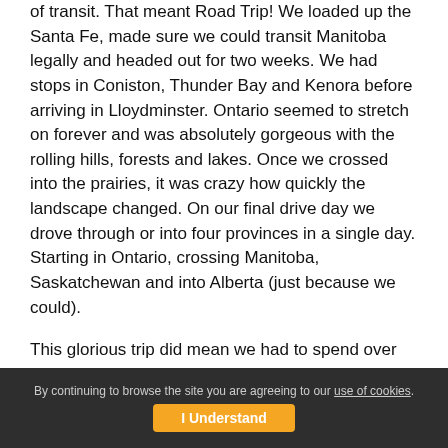of transit. That meant Road Trip! We loaded up the Santa Fe, made sure we could transit Manitoba legally and headed out for two weeks. We had stops in Coniston, Thunder Bay and Kenora before arriving in Lloydminster. Ontario seemed to stretch on forever and was absolutely gorgeous with the rolling hills, forests and lakes. Once we crossed into the prairies, it was crazy how quickly the landscape changed. On our final drive day we drove through or into four provinces in a single day. Starting in Ontario, crossing Manitoba, Saskatchewan and into Alberta (just because we could).
This glorious trip did mean we had to spend over 50hrs sitting (round trip). How did we deal with all that time in one position? Well we planned to stop every few hours to stretch and give
By continuing to browse the site you are agreeing to our use of cookies. I Understand